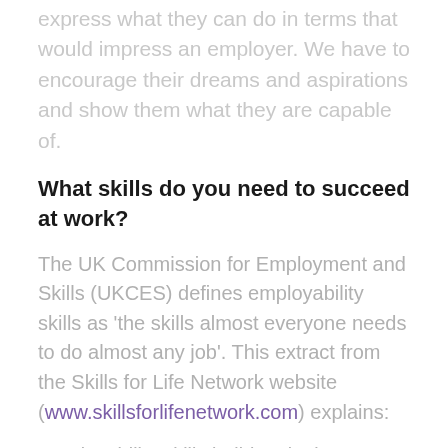express what they can do in terms that would impress an employer. We have to encourage their dreams and aspirations and show them what they are capable of.
What skills do you need to succeed at work?
The UK Commission for Employment and Skills (UKCES) defines employability skills as 'the skills almost everyone needs to do almost any job'. This extract from the Skills for Life Network website (www.skillsforlifenetwork.com) explains:
Employability skills build up in three layers, starting with a foundation of Positive